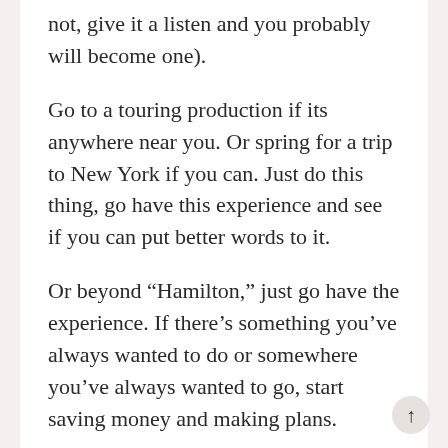not, give it a listen and you probably will become one).
Go to a touring production if its anywhere near you. Or spring for a trip to New York if you can. Just do this thing, go have this experience and see if you can put better words to it.
Or beyond “Hamilton,” just go have the experience. If there’s something you’ve always wanted to do or somewhere you’ve always wanted to go, start saving money and making plans.
Go do that thing. You’ll be so glad you